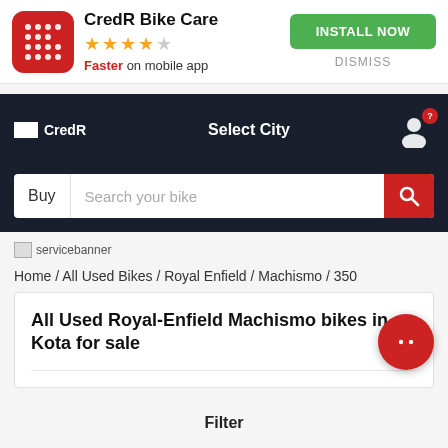[Figure (screenshot): CredR Bike Care app banner with red app icon, 4-star rating, 'Faster on mobile app' tagline, INSTALL NOW green button and DISMISS link]
CredR  Select City
Buy  Search your bike
[Figure (other): servicebanner placeholder image]
Home / All Used Bikes / Royal Enfield / Machismo / 350
All Used Royal-Enfield Machismo bikes in Kota for sale
Filter